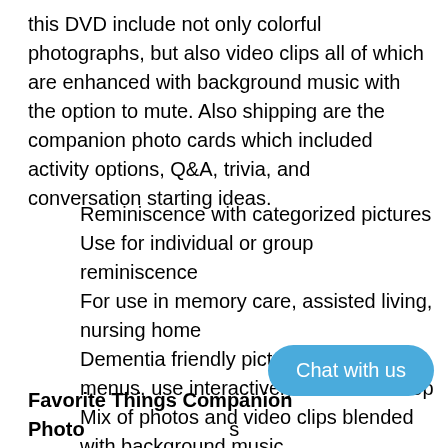this DVD include not only colorful photographs, but also video clips all of which are enhanced with background music with the option to mute. Also shipping are the companion photo cards which included activity options, Q&A, trivia, and conversation starting ideas.
Reminiscence with categorized pictures
Use for individual or group reminiscence
For use in memory care, assisted living, nursing home
Dementia friendly pictures, simple menus, use interactively or run in a loop
Mix of photos and video clips blended with background music
Favorite Things Companion Photo Cards Collection accompanies the DVD and c independently from the DVD. The set includes 12 double